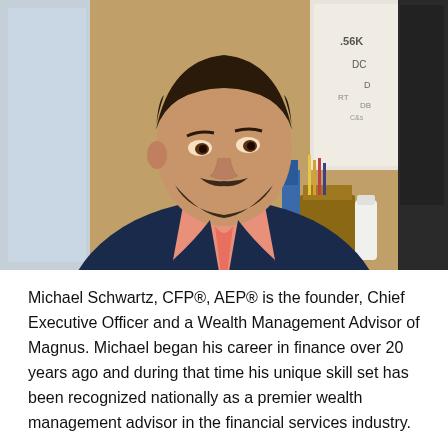[Figure (photo): Portrait photo of Michael Schwartz, a man in a dark navy blazer with a pink/salmon dress shirt, seated in an office environment with wood-paneled walls and a whiteboard visible in the background.]
Michael Schwartz, CFP®, AEP® is the founder, Chief Executive Officer and a Wealth Management Advisor of Magnus. Michael began his career in finance over 20 years ago and during that time his unique skill set has been recognized nationally as a premier wealth management advisor in the financial services industry.
In 2021, Michael was named to the inaugural Forbes/SHOOK® Research's Top Financial Security